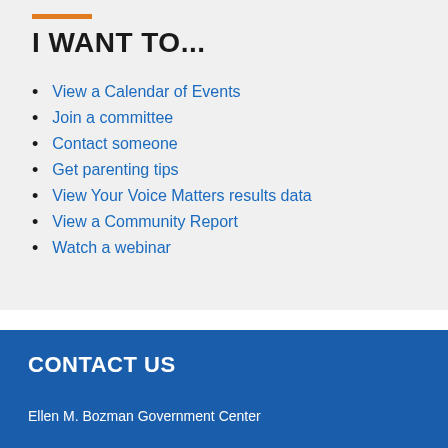I WANT TO...
View a Calendar of Events
Join a committee
Contact someone
Get parenting tips
View Your Voice Matters results data
View a Community Report
Watch a webinar
CONTACT US
Ellen M. Bozman Government Center